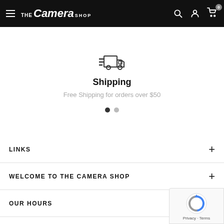The Camera Shop — navigation header with hamburger menu, logo, search, account, and cart icons
[Figure (illustration): Fast delivery truck icon with speed lines]
Shipping
Free Shipping for orders over $50
[Figure (other): Carousel pagination dots — one filled, one empty]
LINKS
WELCOME TO THE CAMERA SHOP
OUR HOURS
GET IN TOUCH WITH US